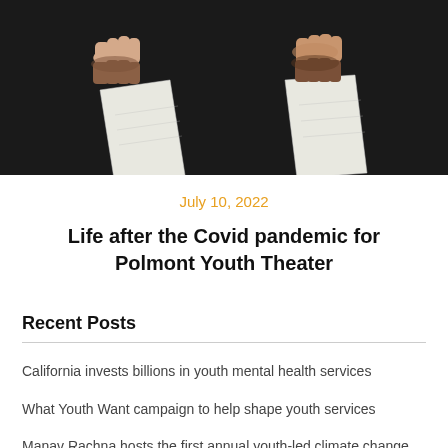[Figure (photo): Two pairs of hands holding white papers/scripts against a dark black background, shown side by side]
July 10, 2022
Life after the Covid pandemic for Polmont Youth Theater
Recent Posts
California invests billions in youth mental health services
What Youth Want campaign to help shape youth services
Manav Rachna hosts the first annual youth-led climate change